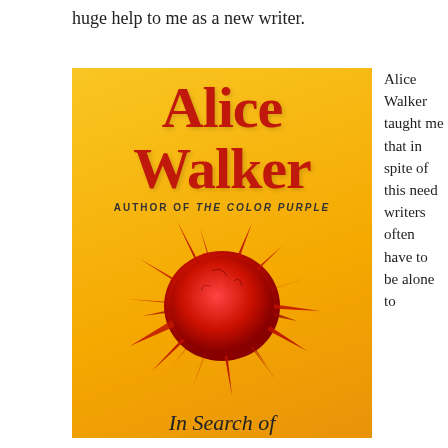huge help to me as a new writer.
[Figure (photo): Book cover of Alice Walker's 'In Search of...' — yellow background with large red text reading 'Alice Walker', subtitle 'AUTHOR OF THE COLOR PURPLE', a spiky red starburst/sea-urchin graphic, and partial bottom text 'In Search of']
Alice Walker taught me that in spite of this need writers often have to be alone to